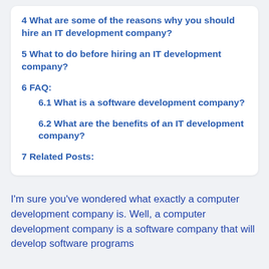4 What are some of the reasons why you should hire an IT development company?
5 What to do before hiring an IT development company?
6 FAQ:
6.1 What is a software development company?
6.2 What are the benefits of an IT development company?
7 Related Posts:
I'm sure you've wondered what exactly a computer development company is. Well, a computer development company is a software company that will develop software programs